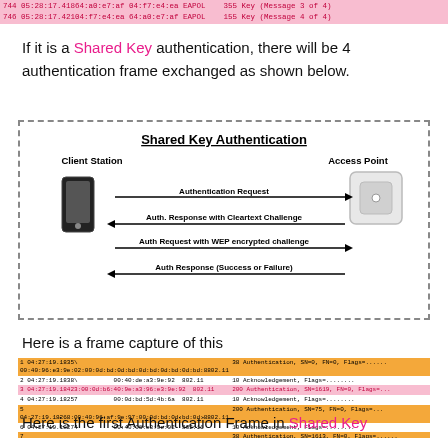744 05:28:17.41864:a0:e7:af 04:f7:e4:ea EAPOL   355 Key (Message 3 of 4)
746 05:28:17.42104:f7:e4:ea 64:a0:e7:af EAPOL   155 Key (Message 4 of 4)
If it is a Shared Key authentication, there will be 4 authentication frame exchanged as shown below.
[Figure (flowchart): Shared Key Authentication diagram showing Client Station and Access Point exchanging 4 messages: Authentication Request (right arrow), Auth. Response with Cleartext Challenge (left arrow), Auth Request with WEP encrypted challenge (right arrow), Auth Response (Success or Failure) (left arrow).]
Here is a frame capture of this
[Figure (screenshot): Wireshark frame capture table showing 8 rows of 802.11 authentication and acknowledgement frames with timestamps, MAC addresses, and info columns. Rows alternate orange/white/pink colors with one blue row at the bottom.]
Here is the first Authentication Frame in Shared Key